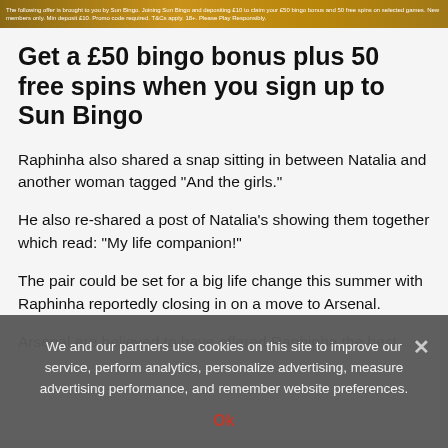[Figure (photo): Golden/tan banner image with small white text advertising a bingo bonus offer at the top of the page]
Get a £50 bingo bonus plus 50 free spins when you sign up to Sun Bingo
Raphinha also shared a snap sitting in between Natalia and another woman tagged "And the girls."
He also re-shared a post of Natalia's showing them together which read: "My life companion!"
The pair could be set for a big life change this summer with Raphinha reportedly closing in on a move to Arsenal.
Arsenal are believed to have offered Raphinha the best
We and our partners use cookies on this site to improve our service, perform analytics, personalize advertising, measure advertising performance, and remember website preferences.
Ok